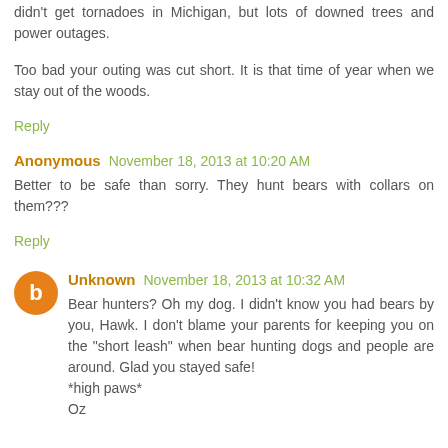didn't get tornadoes in Michigan, but lots of downed trees and power outages.
Too bad your outing was cut short. It is that time of year when we stay out of the woods.
Reply
Anonymous November 18, 2013 at 10:20 AM
Better to be safe than sorry. They hunt bears with collars on them???
Reply
Unknown November 18, 2013 at 10:32 AM
Bear hunters? Oh my dog. I didn't know you had bears by you, Hawk. I don't blame your parents for keeping you on the "short leash" when bear hunting dogs and people are around. Glad you stayed safe!
*high paws*
Oz